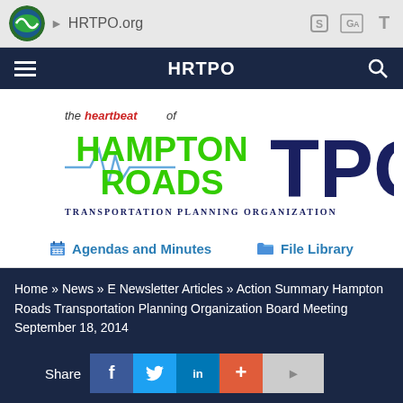HRTPO.org
HRTPO
[Figure (logo): Hampton Roads TPO logo — 'the heartbeat of HAMPTON ROADS TPO Transportation Planning Organization' with a heartbeat/EKG line graphic]
Agendas and Minutes   File Library
Home » News » E Newsletter Articles » Action Summary Hampton Roads Transportation Planning Organization Board Meeting September 18, 2014
Share